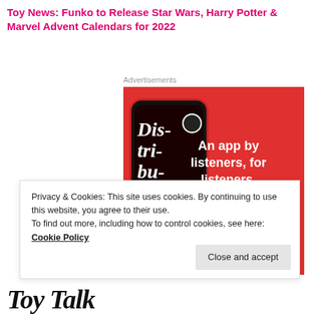Toy News: Funko to Release Star Wars, Harry Potter & Marvel Advent Calendars for 2022
Advertisements
[Figure (screenshot): Advertisement for a podcast app showing a smartphone with a podcast called 'Dis-tri-buted' on screen, red background, with text 'An app by listeners, for listeners.' and a 'Download now' button]
Privacy & Cookies: This site uses cookies. By continuing to use this website, you agree to their use.
To find out more, including how to control cookies, see here: Cookie Policy
Close and accept
Toy Talk